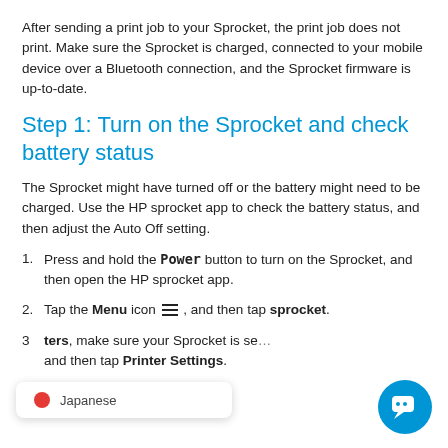After sending a print job to your Sprocket, the print job does not print. Make sure the Sprocket is charged, connected to your mobile device over a Bluetooth connection, and the Sprocket firmware is up-to-date.
Step 1: Turn on the Sprocket and check battery status
The Sprocket might have turned off or the battery might need to be charged. Use the HP sprocket app to check the battery status, and then adjust the Auto Off setting.
Press and hold the Power button to turn on the Sprocket, and then open the HP sprocket app.
Tap the Menu icon ≡, and then tap sprocket.
...ters, make sure your Sprocket is se... and then tap Printer Settings.